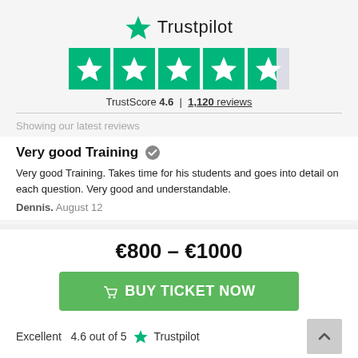[Figure (logo): Trustpilot logo with green star and text 'Trustpilot']
[Figure (other): Five star rating boxes showing 4.6 out of 5 stars — four full green stars and one half green/grey star]
TrustScore 4.6  |  1,120 reviews
Showing our latest reviews
Very good Training
Very good Training. Takes time for his students and goes into detail on each question. Very good and understandable.
Dennis. August 12
€800 – €1000
BUY TICKET NOW
Excellent  4.6 out of 5  Trustpilot